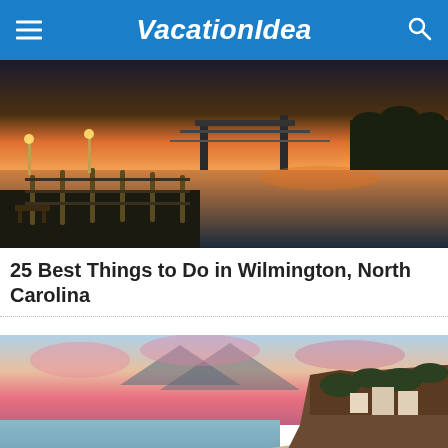VacationIdea
[Figure (photo): Boardwalk at dusk along a river with a bridge in the background, Wilmington, North Carolina]
25 Best Things to Do in Wilmington, North Carolina
[Figure (photo): Aerial view of a sandy beach with waves, cliffs, and pink sunset sky, California coast]
25 Best Beaches in California